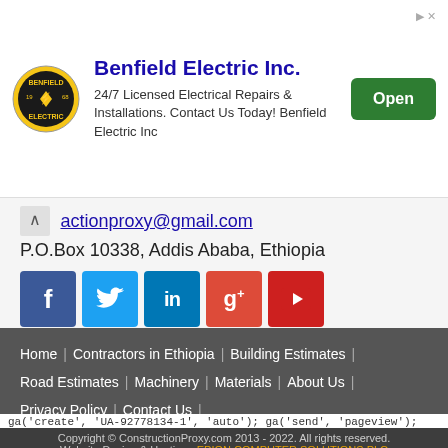[Figure (other): Advertisement banner for Benfield Electric Inc. with logo, description text, and Open button]
actionproxy@gmail.com
P.O. Box 10338, Addis Ababa, Ethiopia
[Figure (other): Social media icons: Facebook, Twitter, LinkedIn, Google+, YouTube]
Home | Contractors in Ethiopia | Building Estimates | Road Estimates | Machinery | Materials | About Us | Privacy Policy | Contact Us
Copyright © ConstructionProxy.com 2013 - 2022. All rights reserved.
Website Design & Hosting : EPION COMPUTER SOLUTIONS PLC
ga('create', 'UA-92778134-1', 'auto'); ga('send', 'pageview');